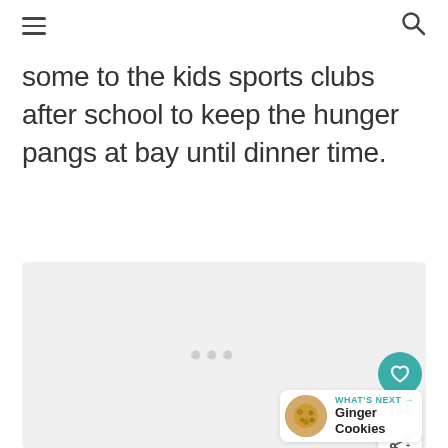navigation header with hamburger menu and search icon
some to the kids sports clubs after school to keep the hunger pangs at bay until dinner time.
[Figure (photo): Image placeholder area with loading dots, like button showing 146, and share button]
WHAT'S NEXT → Ginger Cookies